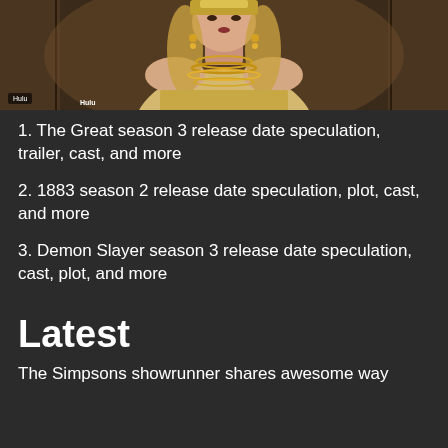[Figure (photo): A woman in period costume wearing elaborate jewelry and a light-colored ornate dress, appears to be from the TV show 'The Great'. A Hulu badge is visible in the bottom-left corner of the image.]
1. The Great season 3 release date speculation, trailer, cast, and more
2. 1883 season 2 release date speculation, plot, cast, and more
3. Demon Slayer season 3 release date speculation, cast, plot, and more
Latest
The Simpsons showrunner shares awesome way